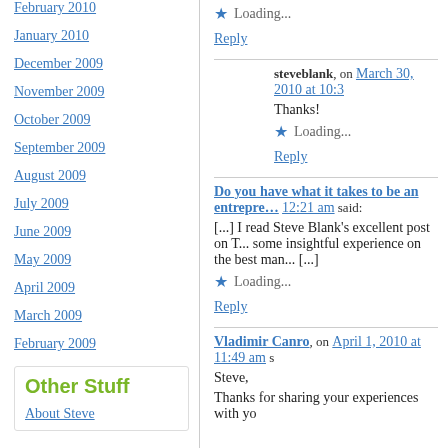February 2010
January 2010
December 2009
November 2009
October 2009
September 2009
August 2009
July 2009
June 2009
May 2009
April 2009
March 2009
February 2009
Other Stuff
About Steve
Loading...
Reply
steveblank, on March 30, 2010 at 10:3
Thanks!
Loading...
Reply
Do you have what it takes to be an entrepreneur... 12:21 am said:
[...] I read Steve Blank's excellent post on T... some insightful experience on the best man... [...]
Loading...
Reply
Vladimir Canro, on April 1, 2010 at 11:49 am s
Steve,
Thanks for sharing your experiences with yo